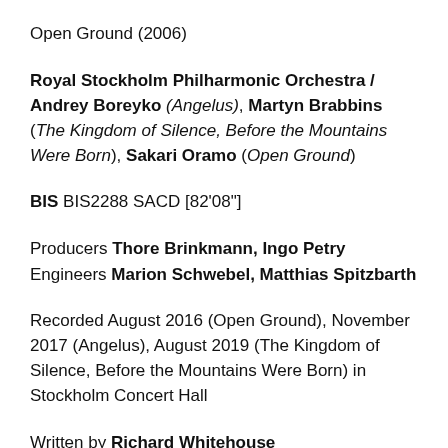Open Ground (2006)
Royal Stockholm Philharmonic Orchestra / Andrey Boreyko (Angelus), Martyn Brabbins (The Kingdom of Silence, Before the Mountains Were Born), Sakari Oramo (Open Ground)
BIS BIS2288 SACD [82'08"]
Producers Thore Brinkmann, Ingo Petry
Engineers Marion Schwebel, Matthias Spitzbarth
Recorded August 2016 (Open Ground), November 2017 (Angelus), August 2019 (The Kingdom of Silence, Before the Mountains Were Born) in Stockholm Concert Hall
Written by Richard Whitehouse
What's the story?